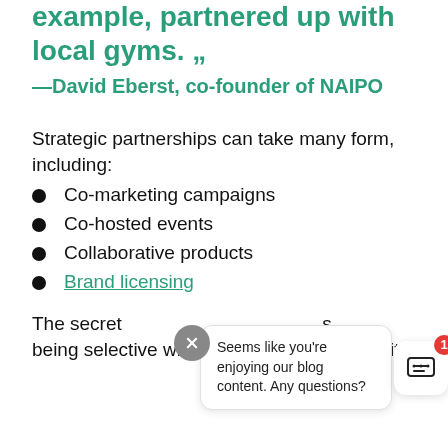example, partnered up with local gyms. „
—David Eberst, co-founder of NAIPO
Strategic partnerships can take many form, including:
Co-marketing campaigns
Co-hosted events
Collaborative products
Brand licensing
The secret ...s being selective with who you collaborate with